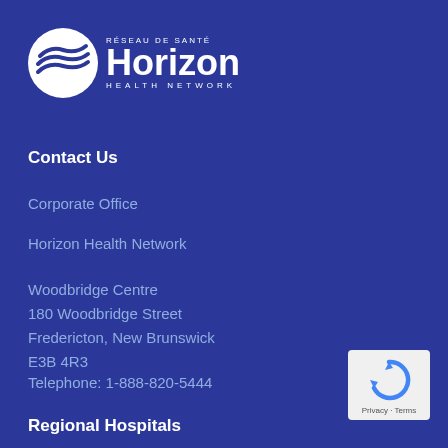[Figure (logo): Horizon Health Network logo with circular wave emblem and text 'RÉSEAU DE SANTÉ Horizon HEALTH NETWORK' in white on dark blue background]
Contact Us
Corporate Office
Horizon Health Network
Woodbridge Centre
180 Woodbridge Street
Fredericton, New Brunswick
E3B 4R3
Telephone: 1-888-820-5444
Regional Hospitals
[Figure (logo): Google reCAPTCHA badge with arrow icon and Privacy · Terms text]